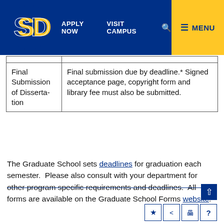APPLY NOW   VISIT CAMPUS   [search]   ≡ MENU
| Final Submission of Dissertation | Final submission due by deadline.* Signed acceptance page, copyright form and library fee must also be submitted. |
The Graduate School sets deadlines for graduation each semester.  Please also consult with your department for other program specific requirements and deadlines.  All forms are available on the Graduate School Forms website.